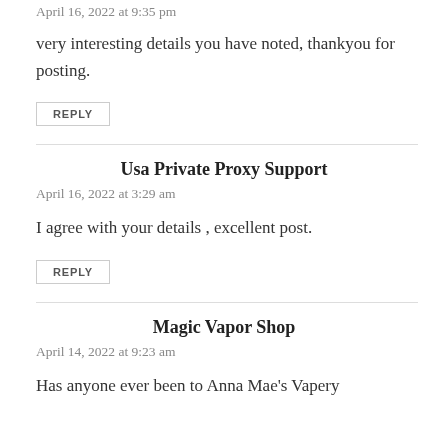April 16, 2022 at 9:35 pm
very interesting details you have noted, thankyou for posting.
REPLY
Usa Private Proxy Support
April 16, 2022 at 3:29 am
I agree with your details , excellent post.
REPLY
Magic Vapor Shop
April 14, 2022 at 9:23 am
Has anyone ever been to Anna Mae's Vapery